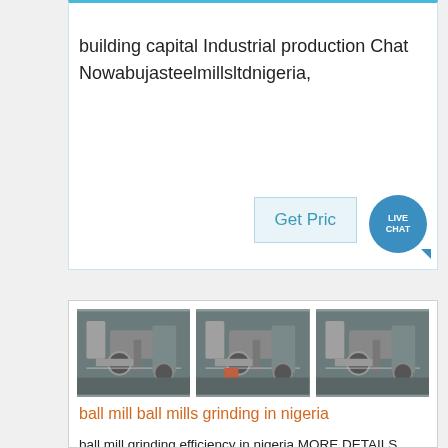building capital Industrial production Chat Nowabujasteelmillsltdnigeria,
[Figure (screenshot): Get Price button with Live Chat bubble]
[Figure (photo): Three images of industrial ball mill grinding machinery]
ball mill ball mills grinding in nigeria
ball mill grinding efficiency in nigeria MORE DETAILS Cement Ball Mill 2016 high efficient grinding ball mill grinding mill cement ball millOverview The ball mill for clinker is an efficient tool for fine powder grinding It is mainly used to grind the clinker and raw materials in cement industry and also can be applied in metallurgy chemical